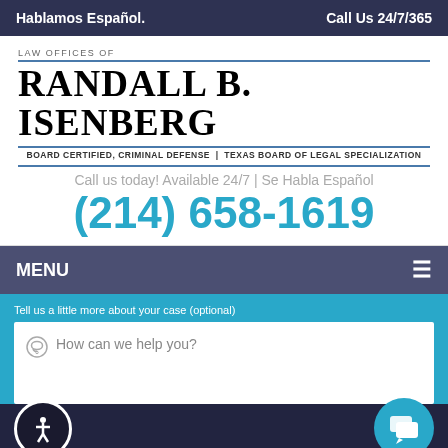Hablamos Español.    Call Us 24/7/365
[Figure (logo): Law Offices of Randall B. Isenberg logo with firm name, board certification text, phone number and tagline]
LAW OFFICES OF
RANDALL B. ISENBERG
BOARD CERTIFIED, CRIMINAL DEFENSE | TEXAS BOARD OF LEGAL SPECIALIZATION
Call us today! Available 24/7 | Se Habla Español
(214) 658-1619
MENU
Tell us a little more about your case (optional)
How can we help you?
GET MY FREE CASE EVALUATION